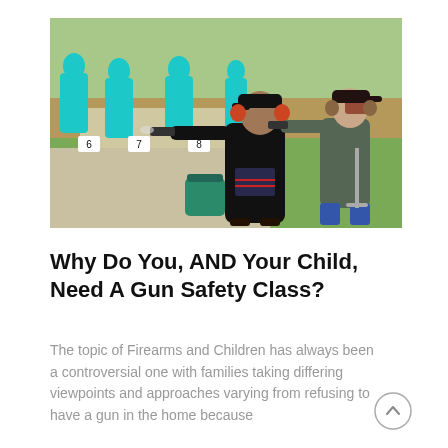[Figure (photo): Two people at an outdoor shooting range firing handguns toward blue humanoid target silhouettes. The person in the foreground wears a black cap and black t-shirt with an American flag design. Lane markers numbered 6, 7, 8 are visible. A green barrel and fresh-cut grass are in the foreground.]
Why Do You, AND Your Child, Need A Gun Safety Class?
The topic of Firearms and Children has always been a controversial one with families taking differing viewpoints and approaches varying from refusing to have a gun in the home because